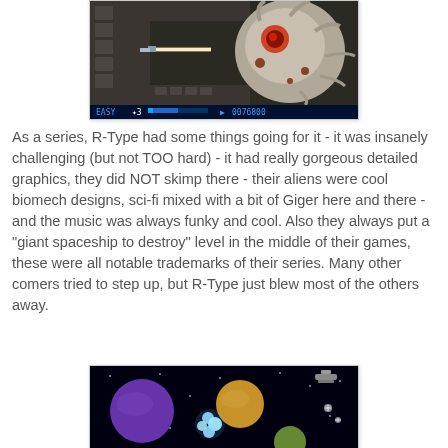[Figure (screenshot): Screenshot of R-Type video game showing a biomechanical alien boss on the right side and a spaceship firing on the left, with HUD showing EASY difficulty, 3 lives, health bar, and score 0076800]
As a series, R-Type had some things going for it - it was insanely challenging (but not TOO hard) - it had really gorgeous detailed graphics, they did NOT skimp there - their aliens were cool biomech designs, sci-fi mixed with a bit of Giger here and there - and the music was always funky and cool. Also they always put a "giant spaceship to destroy" level in the middle of their games, these were all notable trademarks of their series. Many other comers tried to step up, but R-Type just blew most of the others away.
[Figure (screenshot): Screenshot of a space scrolling shooter game showing planets (purple, tan/orange, green), stars, and small spaceships against a black background]